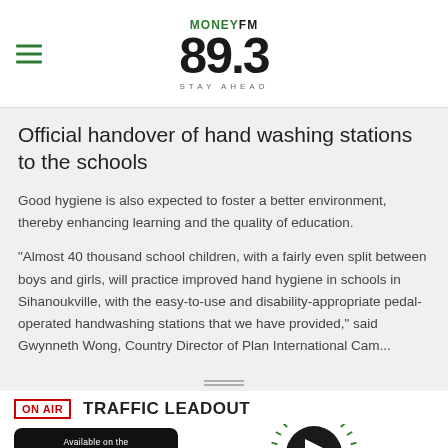MoneyFM 89.3 Stay Ahead
Official handover of hand washing stations to the schools
Good hygiene is also expected to foster a better environment, thereby enhancing learning and the quality of education.
"Almost 40 thousand school children, with a fairly even split between boys and girls, will practice improved hand hygiene in schools in Sihanoukville, with the easy-to-use and disability-appropriate pedal-operated handwashing stations that we have provided," said Gwynneth Wong, Country Director of Plan International Cambodia. "The recipients will also be...
ON AIR  TRAFFIC LEADOUT
[Figure (logo): App Store download badge]
[Figure (other): Play button icon with radiating lines]